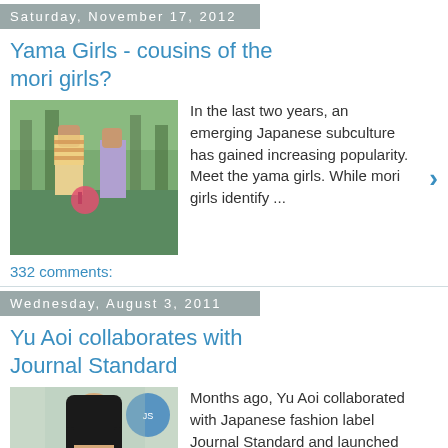Saturday, November 17, 2012
Yama Girls - cousins of the mori girls?
[Figure (photo): Photo of two yama girls in outdoor forest setting with striped clothing]
In the last two years, an emerging Japanese subculture has gained increasing popularity. Meet the yama girls. While mori girls identify ...
332 comments:
Wednesday, August 3, 2011
Yu Aoi collaborates with Journal Standard
[Figure (photo): Photo of Yu Aoi wearing a green t-shirt]
Months ago, Yu Aoi collaborated with Japanese fashion label Journal Standard and launched a special collection. As regular readers will know...
139 comments:
Sunday, March 20, 2011